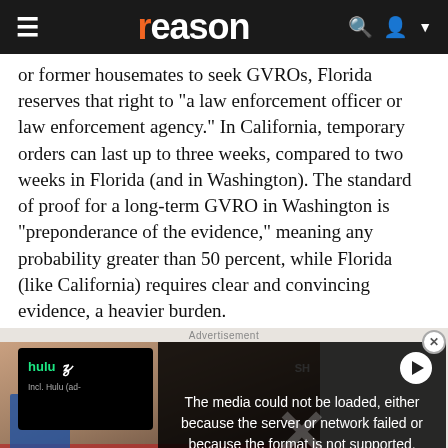reason
or former housemates to seek GVROs, Florida reserves that right to "a law enforcement officer or law enforcement agency." In California, temporary orders can last up to three weeks, compared to two weeks in Florida (and in Washington). The standard of proof for a long-term GVRO in Washington is "preponderance of the evidence," meaning any probability greater than 50 percent, while Florida (like California) requires clear and convincing evidence, a heavier burden.
[Figure (screenshot): Advertisement area showing a partially visible Hulu/Disney+ ad tile on the left, and a video player overlay on the right showing a media error message: 'The media could not be loaded, either because the server or network failed or because the format is not supported.' with a play button and close button. Behind the overlay is a protest scene image.]
All three states, two or three we without an opportunity for the respondent to rebut the